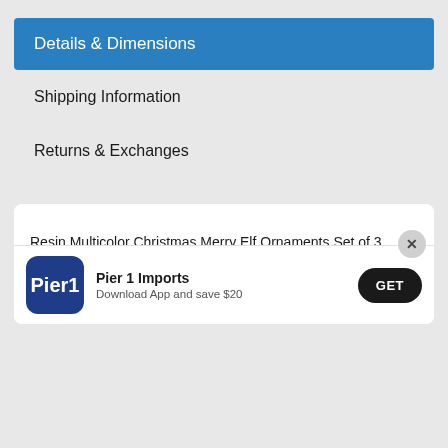Details & Dimensions
Shipping Information
Returns & Exchanges
Resin Multicolor Christmas Merry Elf Ornaments Set of 3
Dimensions: 1.75" x 1.25" x 3.75"
Cleaning: Spot clean only
No Assembly Required
[Figure (logo): Pier 1 Imports app icon - dark blue rounded square with white Pier1 text]
Pier 1 Imports
Download App and save $20
GET